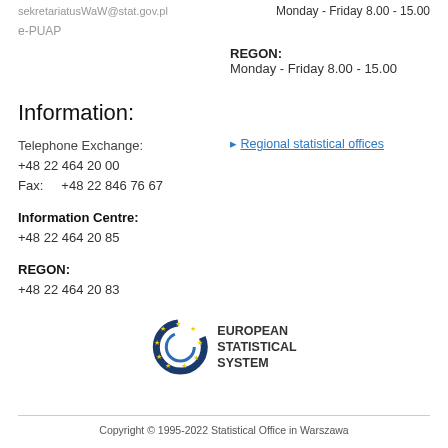sekretariatusWaW@stat.gov.pl Monday - Friday 8.00 - 15.00
e-PUAP
REGON:
Monday - Friday 8.00 - 15.00
Information:
Telephone Exchange:
Regional statistical offices
+48 22 464 20 00
Fax:       +48 22 846 76 67
Information Centre:
+48 22 464 20 85
REGON:
+48 22 464 20 83
[Figure (logo): European Statistical System logo with circular star emblem and text EUROPEAN STATISTICAL SYSTEM]
Copyright © 1995-2022 Statistical Office in Warszawa